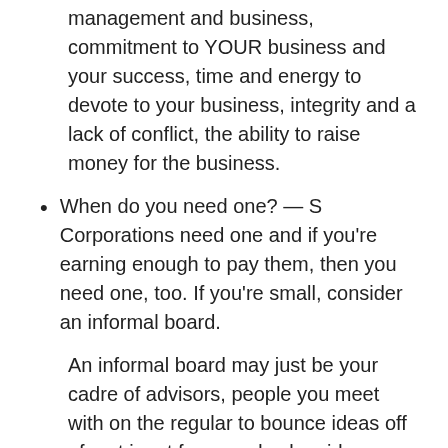management and business, commitment to YOUR business and your success, time and energy to devote to your business, integrity and a lack of conflict, the ability to raise money for the business.
When do you need one? — S Corporations need one and if you're earning enough to pay them, then you need one, too. If you're small, consider an informal board.
An informal board may just be your cadre of advisors, people you meet with on the regular to bounce ideas off of, get input from, and ask guidance from.
Advisory Board – a group of individuals trusted to help an entrepreneur in the start-up phases of the